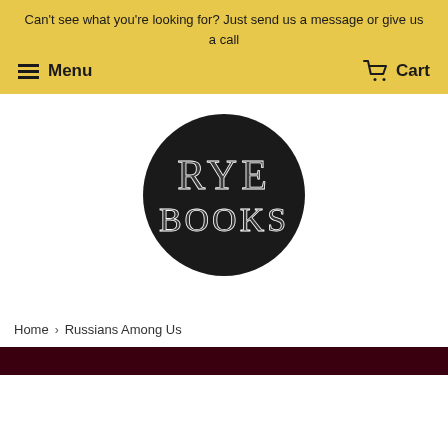Can't see what you're looking for? Just send us a message or give us a call
Menu   Cart
[Figure (logo): Rye Books logo — white decorative serif text 'RYE BOOKS' on a black circle]
Home › Russians Among Us
[Figure (other): Dark maroon/burgundy bar at the bottom of the page]